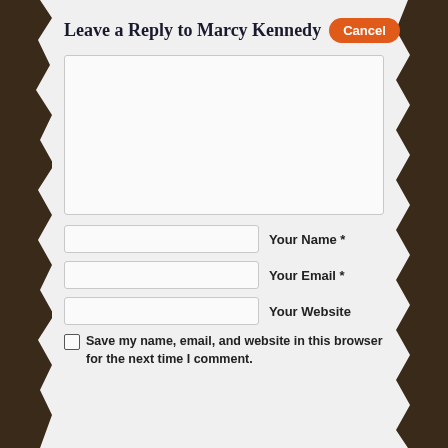Leave a Reply to Marcy Kennedy Cancel
[Figure (screenshot): Large empty comment text area input box]
Your Name *
Your Email *
Your Website
Save my name, email, and website in this browser for the next time I comment.